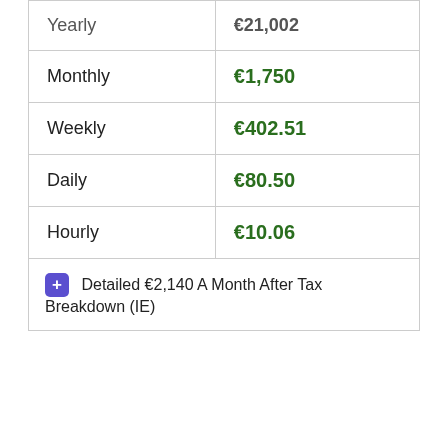|  |  |
| --- | --- |
| Yearly | €21,002 |
| Monthly | €1,750 |
| Weekly | €402.51 |
| Daily | €80.50 |
| Hourly | €10.06 |
| + Detailed €2,140 A Month After Tax Breakdown (IE) |  |
[Figure (screenshot): A grayed-out media player box with title 'Cost of living in Dublin', showing 'No compatible source was found for this media.' with a close button and watermark text.]